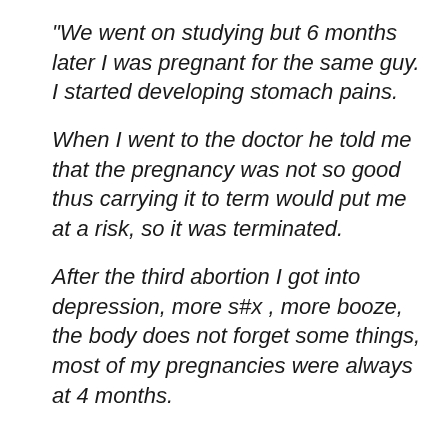“We went on studying but 6 months later I was pregnant for the same guy. I started developing stomach pains.

When I went to the doctor he told me that the pregnancy was not so good thus carrying it to term would put me at a risk, so it was terminated.

After the third abortion I got into depression, more s#x , more booze, the body does not forget some things, most of my pregnancies were always at 4 months.